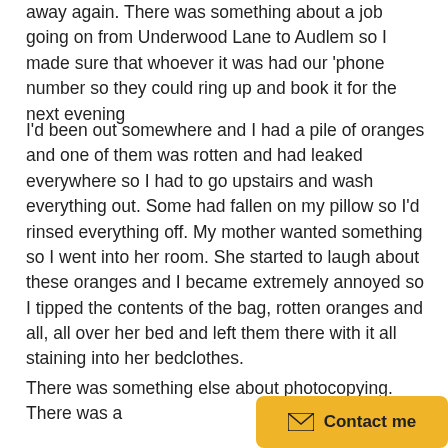away again. There was something about a job going on from Underwood Lane to Audlem so I made sure that whoever it was had our 'phone number so they could ring up and book it for the next evening
I'd been out somewhere and I had a pile of oranges and one of them was rotten and had leaked everywhere so I had to go upstairs and wash everything out. Some had fallen on my pillow so I'd rinsed everything off. My mother wanted something so I went into her room. She started to laugh about these oranges and I became extremely annoyed so I tipped the contents of the bag, rotten oranges and all, all over her bed and left them there with it all staining into her bedclothes.
There was something else about photocopying. There was a
[Figure (other): Yellow 'Contact me' button with envelope icon in bottom right corner]